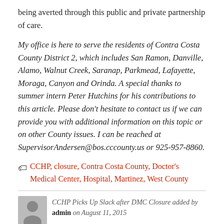being averted through this public and private partnership of care.
My office is here to serve the residents of Contra Costa County District 2, which includes San Ramon, Danville, Alamo, Walnut Creek, Saranap, Parkmead, Lafayette, Moraga, Canyon and Orinda. A special thanks to summer intern Peter Hutchins for his contributions to this article. Please don't hesitate to contact us if we can provide you with additional information on this topic or on other County issues. I can be reached at SupervisorAndersen@bos.cccounty.us or 925-957-8860.
CCHP, closure, Contra Costa County, Doctor's Medical Center, Hospital, Martinez, West County
CCHP Picks Up Slack after DMC Closure added by admin on August 11, 2015
View all posts by admin →